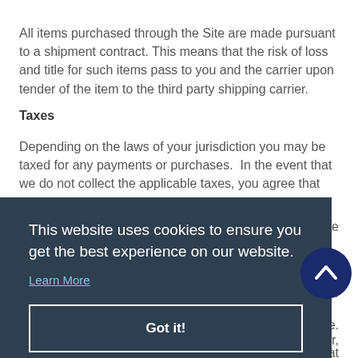All items purchased through the Site are made pursuant to a shipment contract. This means that the risk of loss and title for such items pass to you and the carrier upon tender of the item to the third party shipping carrier.
Taxes
Depending on the laws of your jurisdiction you may be taxed for any payments or purchases.  In the event that we do not collect the applicable taxes, you agree that you are still responsible for any applicable taxes.  Although no taxes may [be applicable] [to] you. [...] [may be] [...] page. [...] rror, [...] gs at all times.  Although we try to keep all items on our Site
This website uses cookies to ensure you get the best experience on our website.
Learn More
Got it!